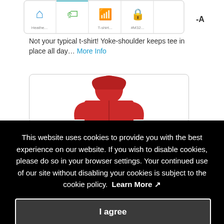[Figure (screenshot): Browser tab bar showing four tabs with icons: home (blue), price tag (green, active), wifi (orange), lock (tan). Partially cut off on the right showing '-A' label.]
Not your typical t-shirt! Yoke-shoulder keeps tee in place all day… More Info
[Figure (photo): Red hoodie/jacket product image in a rounded card container, partially visible.]
This website uses cookies to provide you with the best experience on our website. If you wish to disable cookies, please do so in your browser settings. Your continued use of our site without disabling your cookies is subject to the cookie policy. Learn More
I agree